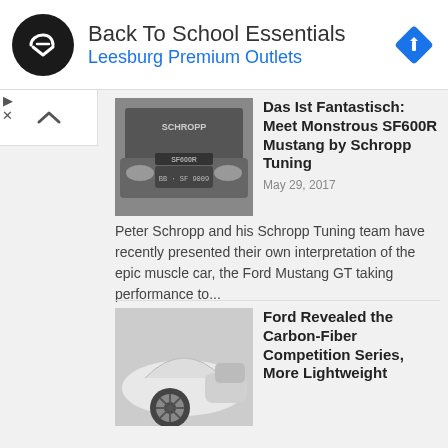[Figure (screenshot): Advertisement banner: black circular logo with arrow icon, text 'Back To School Essentials' and 'Leesburg Premium Outlets' in blue, blue diamond navigation icon on right]
[Figure (photo): Black and white photo of a modified Ford Mustang SF600R with German license plate BB-SF 9009, Schropp branding visible]
Das Ist Fantastisch: Meet Monstrous SF600R Mustang by Schropp Tuning
May 29, 2017
Peter Schropp and his Schropp Tuning team have recently presented their own interpretation of the epic muscle car, the Ford Mustang GT taking performance to...
READ MORE
[Figure (photo): Black and white photo of a white carbon fiber Ford GT sports car, showing wheel and side profile]
Ford Revealed the Carbon-Fiber Competition Series, More Lightweight